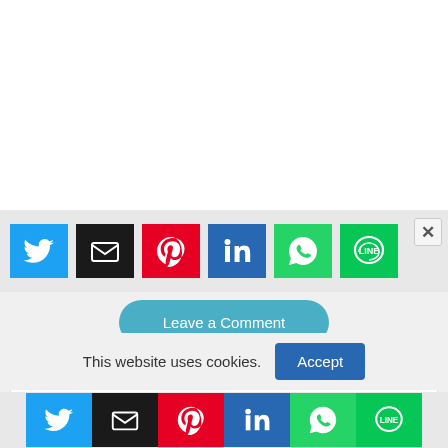[Figure (screenshot): Social share buttons row (Twitter, Email, Pinterest, LinkedIn, WhatsApp, LINE) with close X button, on grey background]
Leave a Comment
Related Post
Kerala Plus Two Journalism Textbook
This website uses cookies.
[Figure (screenshot): Bottom social share buttons row (Twitter, Email, Pinterest, LinkedIn, WhatsApp, LINE)]